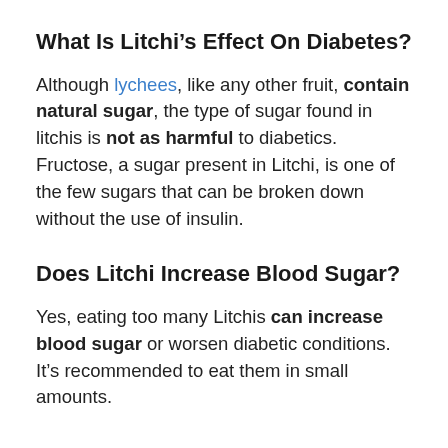What Is Litchi’s Effect On Diabetes?
Although lychees, like any other fruit, contain natural sugar, the type of sugar found in litchis is not as harmful to diabetics. Fructose, a sugar present in Litchi, is one of the few sugars that can be broken down without the use of insulin.
Does Litchi Increase Blood Sugar?
Yes, eating too many Litchis can increase blood sugar or worsen diabetic conditions. It’s recommended to eat them in small amounts.